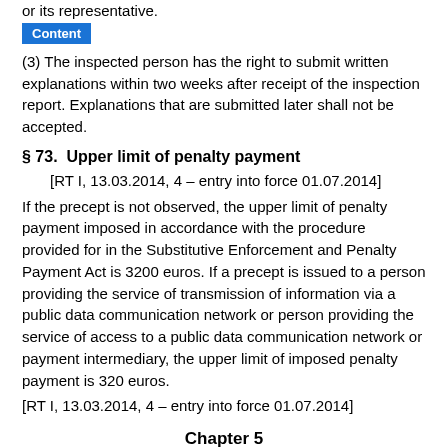or its representative.
(3) The inspected person has the right to submit written explanations within two weeks after receipt of the inspection report. Explanations that are submitted later shall not be accepted.
§ 73.  Upper limit of penalty payment
[RT I, 13.03.2014, 4 – entry into force 01.07.2014]
If the precept is not observed, the upper limit of penalty payment imposed in accordance with the procedure provided for in the Substitutive Enforcement and Penalty Payment Act is 3200 euros. If a precept is issued to a person providing the service of transmission of information via a public data communication network or person providing the service of access to a public data communication network or payment intermediary, the upper limit of imposed penalty payment is 320 euros.
[RT I, 13.03.2014, 4 – entry into force 01.07.2014]
Chapter 5
LIABILITY FOR VIOLATION OF GAMBLING ACT
§ 74.  Organisation of prohibited gambling